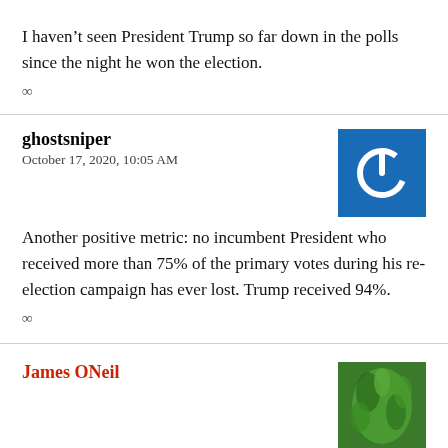I haven't seen President Trump so far down in the polls since the night he won the election.
∞
ghostsniper
October 17, 2020, 10:05 AM
[Figure (logo): Blue square avatar with white power button icon]
Another positive metric: no incumbent President who received more than 75% of the primary votes during his re-election campaign has ever lost. Trump received 94%.
∞
James ONeil